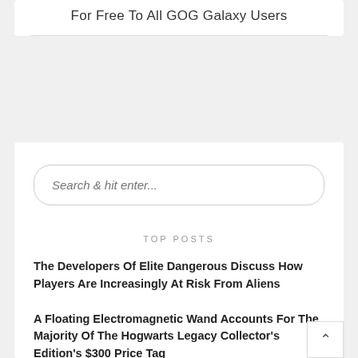For Free To All GOG Galaxy Users
Search & hit enter...
TOP POSTS
The Developers Of Elite Dangerous Discuss How Players Are Increasingly At Risk From Aliens
A Floating Electromagnetic Wand Accounts For The Majority Of The Hogwarts Legacy Collector's Edition's $300 Price Tag